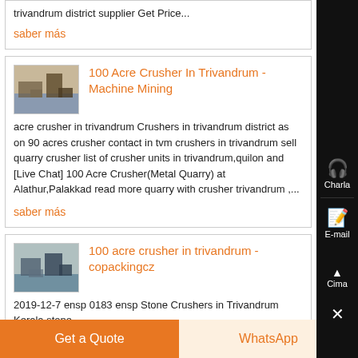trivandrum district supplier Get Price...
saber más
100 Acre Crusher In Trivandrum - Machine Mining
acre crusher in trivandrum Crushers in trivandrum district as on 90 acres crusher contact in tvm crushers in trivandrum sell quarry crusher list of crusher units in trivandrum,quilon and [Live Chat] 100 Acre Crusher(Metal Quarry) at Alathur,Palakkad read more quarry with crusher trivandrum ,...
saber más
100 acre crusher in trivandrum - copackingcz
2019-12-7 ensp 0183 ensp Stone Crushers in Trivandrum Kerala stone
Get a Quote
WhatsApp